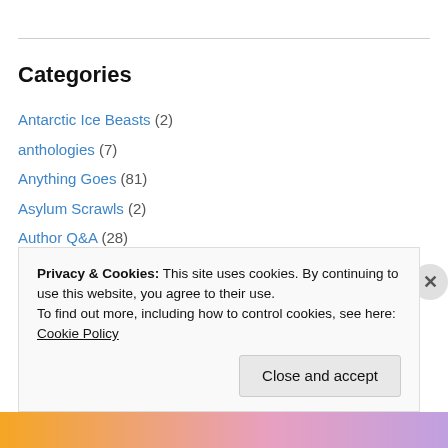Categories
Antarctic Ice Beasts (2)
anthologies (7)
Anything Goes (81)
Asylum Scrawls (2)
Author Q&A (28)
Bigfoot (17)
Bigfoot in the Bronx (2)
Black Eyed Kids (1)
Blog Tours (1)
Privacy & Cookies: This site uses cookies. By continuing to use this website, you agree to their use. To find out more, including how to control cookies, see here: Cookie Policy
Close and accept